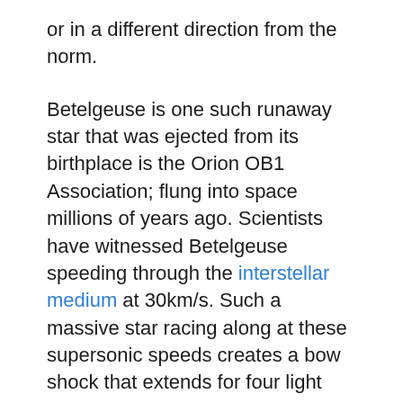or in a different direction from the norm.
Betelgeuse is one such runaway star that was ejected from its birthplace is the Orion OB1 Association; flung into space millions of years ago. Scientists have witnessed Betelgeuse speeding through the interstellar medium at 30km/s. Such a massive star racing along at these supersonic speeds creates a bow shock that extends for four light years.
For everything that is so excessive in Betelgeuse’s nature, the star is a slow rotator. It spins around with a velocity of 5km/s according to most recent recordings. This is much slower than Antares – another red supergiant – which has a rotational